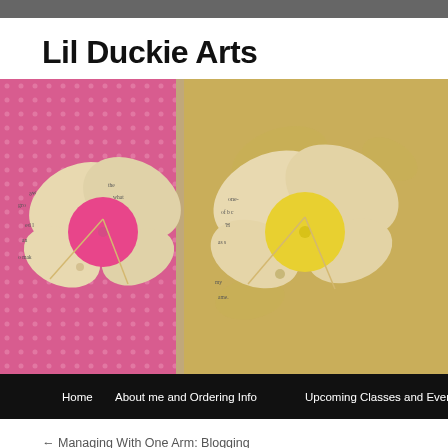Lil Duckie Arts
[Figure (photo): Crafted butterfly decorations made from book pages with round button centers — one on a pink floral background (left), one on a yellow/gold patterned background (right). Navigation bar below with links: Home, About me and Ordering Info, Upcoming Classes and Events]
← Managing With One Arm: Blogging
Oh, Hello Pop-Up Card and Some Great N